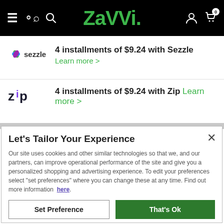Zavvi — navigation bar with hamburger menu, search, logo, account, and cart icons
[Figure (logo): Sezzle logo — colorful pinwheel icon with text 'sezzle']
4 installments of $9.24 with Sezzle
Learn more >
[Figure (logo): Zip logo — text 'zip' with stylized purple dot on the letter i]
4 installments of $9.24 with Zip Learn more >
Let's Tailor Your Experience
Our site uses cookies and other similar technologies so that we, and our partners, can improve operational performance of the site and give you a personalized shopping and advertising experience. To edit your preferences select "set preferences" where you can change these at any time. Find out more information here.
Set Preference
That's Ok